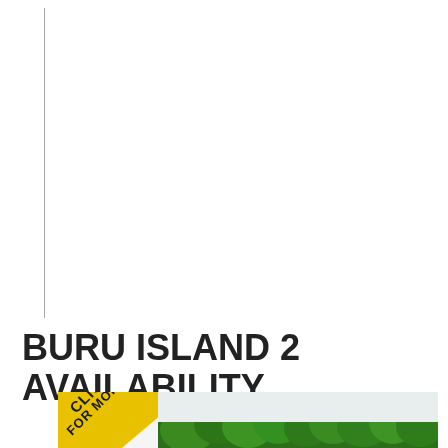BURU ISLAND 2 AVAILABILITY
[Figure (photo): Photo showing a yellow corner sign with text 'CLICK FOR MORE' and a background of green trees/forest scenery]